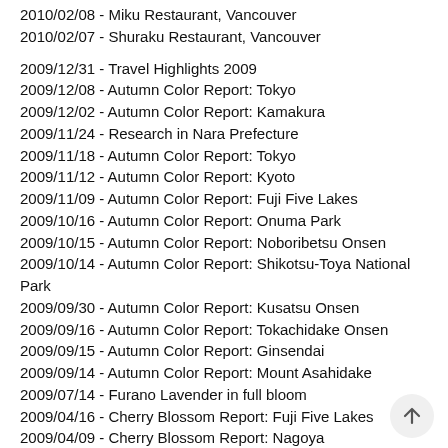2010/02/08 - Miku Restaurant, Vancouver
2010/02/07 - Shuraku Restaurant, Vancouver
2009/12/31 - Travel Highlights 2009
2009/12/08 - Autumn Color Report: Tokyo
2009/12/02 - Autumn Color Report: Kamakura
2009/11/24 - Research in Nara Prefecture
2009/11/18 - Autumn Color Report: Tokyo
2009/11/12 - Autumn Color Report: Kyoto
2009/11/09 - Autumn Color Report: Fuji Five Lakes
2009/10/16 - Autumn Color Report: Onuma Park
2009/10/15 - Autumn Color Report: Noboribetsu Onsen
2009/10/14 - Autumn Color Report: Shikotsu-Toya National Park
2009/09/30 - Autumn Color Report: Kusatsu Onsen
2009/09/16 - Autumn Color Report: Tokachidake Onsen
2009/09/15 - Autumn Color Report: Ginsendai
2009/09/14 - Autumn Color Report: Mount Asahidake
2009/07/14 - Furano Lavender in full bloom
2009/04/16 - Cherry Blossom Report: Fuji Five Lakes
2009/04/09 - Cherry Blossom Report: Nagoya